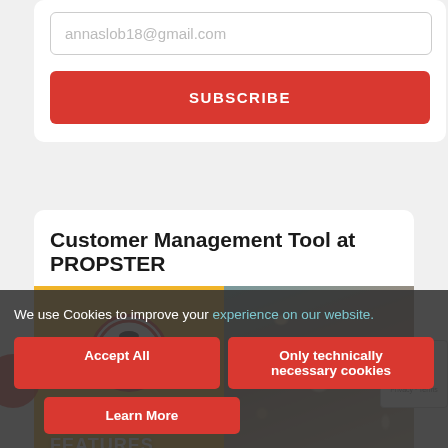annaslob18@gmail.com
SUBSCRIBE
Customer Management Tool at PROPSTER
[Figure (screenshot): Propster logo (man with red tie in circle) on yellow/teal background with coffee beans texture image on the right]
PLATFORM FEATURES
We use Cookies to improve your experience on our website.
Accept All
Only technically necessary cookies
Learn More